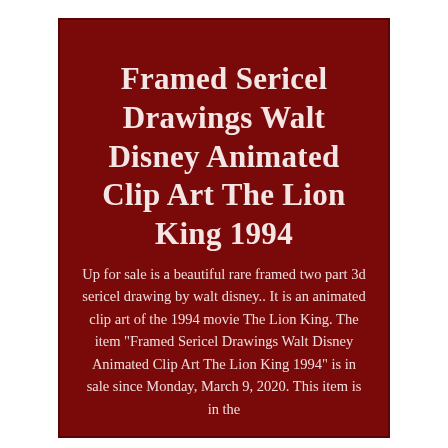Framed Sericel Drawings Walt Disney Animated Clip Art The Lion King 1994
Up for sale is a beautiful rare framed two part 3d sericel drawing by walt disney.. It is an animated clip art of the 1994 movie The Lion King. The item "Framed Sericel Drawings Walt Disney Animated Clip Art The Lion King 1994" is in sale since Monday, March 9, 2020. This item is in the